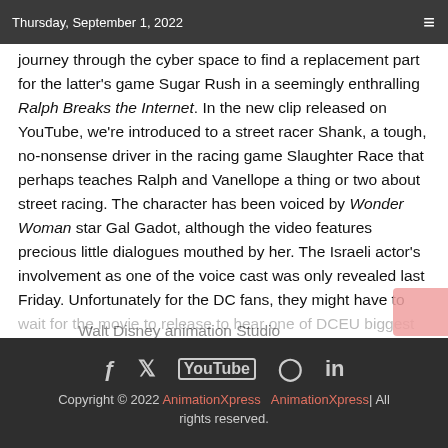Thursday, September 1, 2022
journey through the cyber space to find a replacement part for the latter’s game Sugar Rush in a seemingly enthralling Ralph Breaks the Internet. In the new clip released on YouTube, we’re introduced to a street racer Shank, a tough, no-nonsense driver in the racing game Slaughter Race that perhaps teaches Ralph and Vanellope a thing or two about street racing. The character has been voiced by Wonder Woman star Gal Gadot, although the video features precious little dialogues mouthed by her. The Israeli actor’s involvement as one of the voice cast was only revealed last Friday. Unfortunately for the DC fans, they might have to wait for the movie to release to hear one of DCEU biggest names weave her charm through her seductive voice, whilst the 60 second clip once again probes the ensemble of Disney princesses engaging in friendly banters with Vanellope making her presence
Copyright © 2022 AnimationXpress  AnimationXpress| All rights reserved.